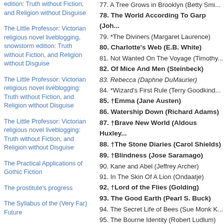edition: Truth without Fiction, and Religion without Disguise
The Little Professor: Victorian religious novel liveblogging, snowstorm edition: Truth without Fiction, and Religion without Disguise
The Little Professor: Victorian religious novel liveblogging: Truth without Fiction, and Religion without Disguise
The Little Professor: Victorian religious novel liveblogging: Truth without Fiction, and Religion without Disguise
The Practical Applications of Gothic Fiction
The prostitute's progress
The Syllabus of the (Very Far) Future
Words
ARCHIVES
December 2021
October 2021
77. A Tree Grows in Brooklyn (Betty Smi...
78. The World According To Garp (Joh...
79. *The Diviners (Margaret Laurence)
80. Charlotte's Web (E.B. White)
81. Not Wanted On The Voyage (Timothy...
82. Of Mice And Men (Steinbeck)
83. Rebecca (Daphne DuMaurier)
84. *Wizard's First Rule (Terry Goodkind...
85. †Emma (Jane Austen)
86. Watership Down (Richard Adams)
87. †Brave New World (Aldous Huxley...
88. †The Stone Diaries (Carol Shields)
89. †Blindness (Jose Saramago)
90. Kane and Abel (Jeffrey Archer)
91. In The Skin Of A Lion (Ondaatje)
92. †Lord of the Flies (Golding)
93. The Good Earth (Pearl S. Buck)
94. The Secret Life of Bees (Sue Monk K...
95. The Bourne Identity (Robert Ludlum)
96. The Outsiders (S.E. Hinton)
97. White Oleander (Janet Fitch)
98. A Woman of Substance (Barbara Tay...
99. The Celestine Prophecy (James Red...
100. †Ulysses (James Joyce)